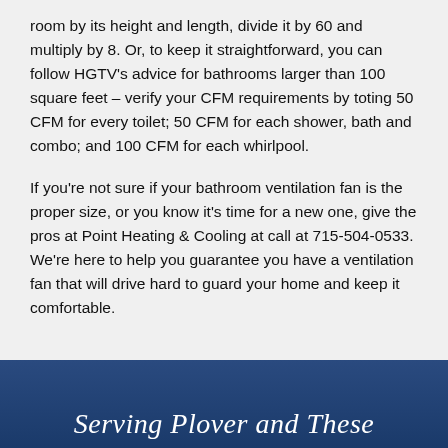room by its height and length, divide it by 60 and multiply by 8. Or, to keep it straightforward, you can follow HGTV's advice for bathrooms larger than 100 square feet – verify your CFM requirements by toting 50 CFM for every toilet; 50 CFM for each shower, bath and combo; and 100 CFM for each whirlpool.
If you're not sure if your bathroom ventilation fan is the proper size, or you know it's time for a new one, give the pros at Point Heating & Cooling at call at 715-504-0533. We're here to help you guarantee you have a ventilation fan that will drive hard to guard your home and keep it comfortable.
Serving Plover and These